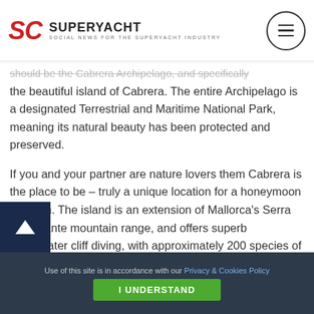SC SUPERYACHT CONTENT SOCIAL NEWS FOR THE SUPERYACHT INDUSTRY
should be the Cabrera Archipelago, and specifically the beautiful island of Cabrera. The entire Archipelago is a designated Terrestrial and Maritime National Park, meaning its natural beauty has been protected and preserved.

If you and your partner are nature lovers them Cabrera is the place to be – truly a unique location for a honeymoon in Spain. The island is an extension of Mallorca's Serra de Levante mountain range, and offers superb underwater cliff diving, with approximately 200 species of fish living in the Marine Park. Take special care to look out for loggerhead turtles and dolphins while here. The island also acts
Use of this site is in accordance with our Privacy & Cookies Policy
I UNDERSTAND